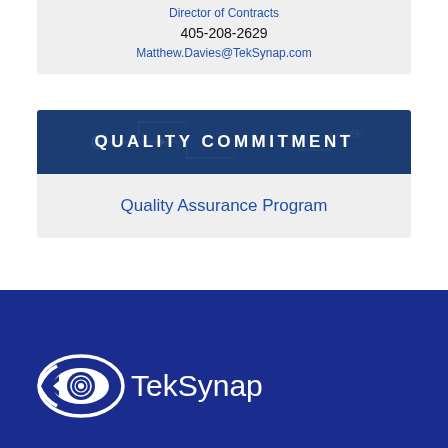Director of Contracts
405-208-2629
Matthew.Davies@TekSynap.com
QUALITY COMMITMENT
Quality Assurance Program
[Figure (logo): TekSynap company logo with white circular eye-like icon and white TekSynap wordmark on dark blue background]